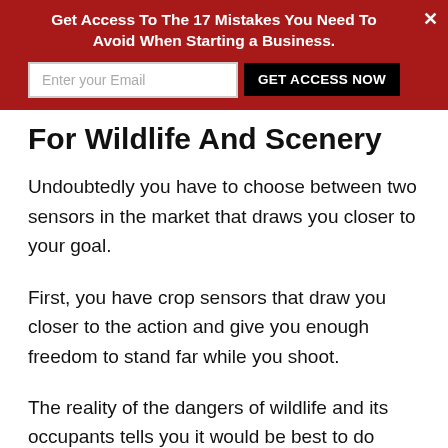Get Access To The 17 Mistakes You Need To Avoid When Starting a Business.
For Wildlife And Scenery
Undoubtedly you have to choose between two sensors in the market that draws you closer to your goal.
First, you have crop sensors that draw you closer to the action and give you enough freedom to stand far while you shoot.
The reality of the dangers of wildlife and its occupants tells you it would be best to do things